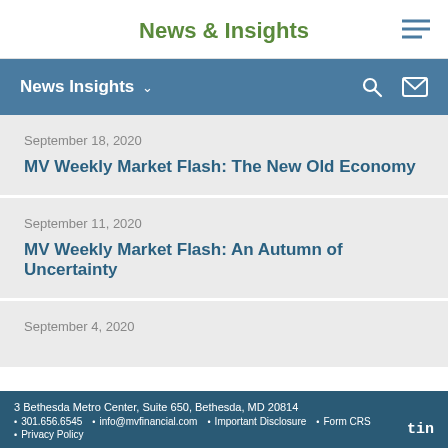News & Insights
News Insights
September 18, 2020
MV Weekly Market Flash: The New Old Economy
September 11, 2020
MV Weekly Market Flash: An Autumn of Uncertainty
September 4, 2020
3 Bethesda Metro Center, Suite 650, Bethesda, MD 20814 • 301.656.6545 • info@mvfinancial.com • Important Disclosure • Form CRS • Privacy Policy